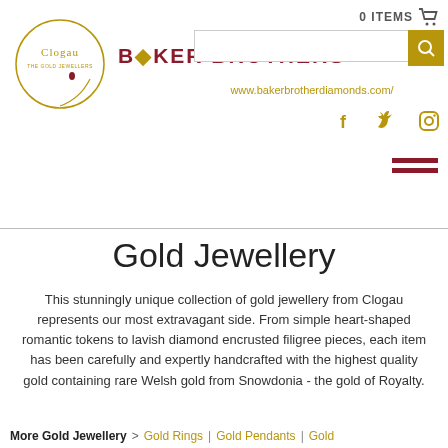[Figure (logo): Clogau circular logo with text and Baker Brothers brand name in dark red]
0 ITEMS | search box | www.bakerbrotherdiamonds.com/ | social icons | hamburger menu
Gold Jewellery
This stunningly unique collection of gold jewellery from Clogau represents our most extravagant side. From simple heart-shaped romantic tokens to lavish diamond encrusted filigree pieces, each item has been carefully and expertly handcrafted with the highest quality gold containing rare Welsh gold from Snowdonia - the gold of Royalty.
More Gold Jewellery > Gold Rings | Gold Pendants | Gold